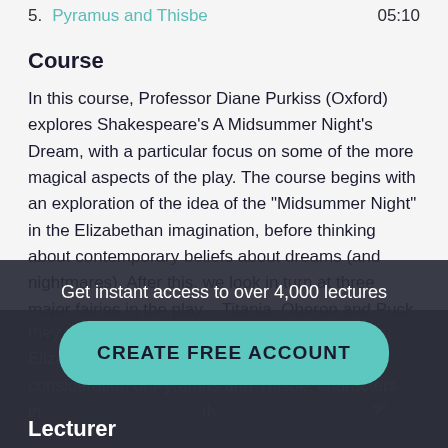5. Pyramus and Thisbe  05:10
Course
In this course, Professor Diane Purkiss (Oxford) explores Shakespeare's A Midsummer Night's Dream, with a particular focus on some of the more magical aspects of the play. The course begins with an exploration of the idea of the "Midsummer Night" in the Elizabethan imagination, before thinking about contemporary beliefs about dreams (and nightmares). After this, we look in turn at three major fairies in the play – Titania, Oberon and Puck – exploring how they might have been understood by the original Elizabethan audience. The course ends with a consideration of Pyramus and Thisbe, characters in...they...?
Get instant access to over 4,000 lectures
CREATE FREE ACCOUNT
Lecturer